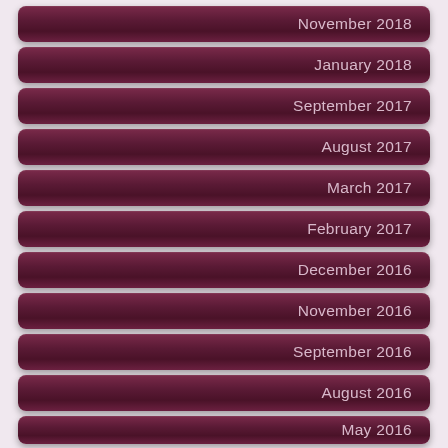November 2018
January 2018
September 2017
August 2017
March 2017
February 2017
December 2016
November 2016
September 2016
August 2016
May 2016